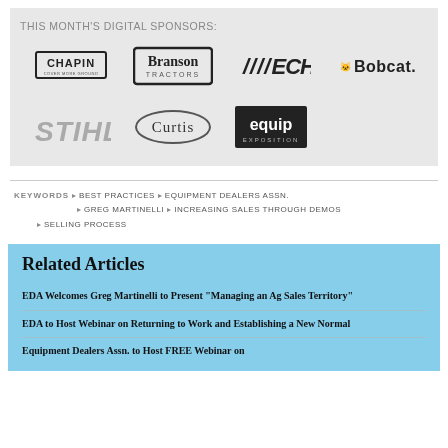THIS MONTH'S DIGITAL SPONSORS:
[Figure (logo): Sponsor logos: Chapin, Branson Tractors, ECHO, Bobcat, STIHL, Curtis, Equip Exposition]
KEYWORDS  ♦ BEST PRACTICES  ♦ EQUIPMENT DEALERS ASSN.  ♦ GREG MARTINELLI  ♦ INCREASING SALES THROUGH DEMOS  ♦ SELLING PROCESS
Related Articles
EDA Welcomes Greg Martinelli to Present "Managing an Ag Sales Territory"
EDA to Host Webinar on Returning to Work and Establishing a New Normal
Equipment Dealers Assn. to Host FREE Webinar on